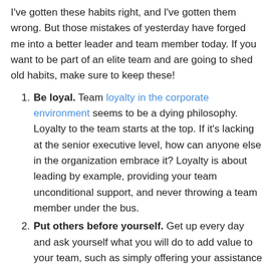I've gotten these habits right, and I've gotten them wrong. But those mistakes of yesterday have forged me into a better leader and team member today. If you want to be part of an elite team and are going to shed old habits, make sure to keep these!
Be loyal. Team loyalty in the corporate environment seems to be a dying philosophy. Loyalty to the team starts at the top. If it's lacking at the senior executive level, how can anyone else in the organization embrace it? Loyalty is about leading by example, providing your team unconditional support, and never throwing a team member under the bus.
Put others before yourself. Get up every day and ask yourself what you will do to add value to your team, such as simply offering your assistance with a project